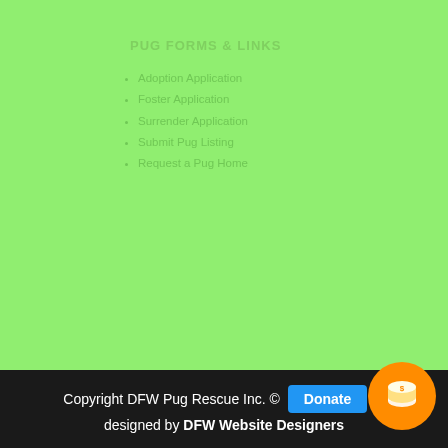PUG FORMS & LINKS
Adoption Application
Foster Application
Surrender Application
Submit Pug Listing
Request a Pug Home
Copyright DFW Pug Rescue Inc. © Donate Site designed by DFW Website Designers